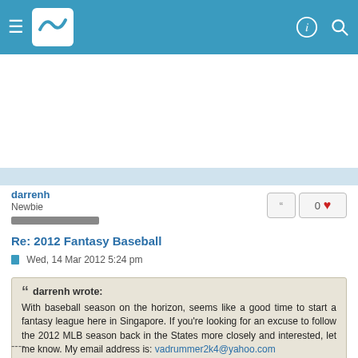Navigation bar with hamburger menu, logo, profile icon, and search icon
darrenh
Newbie
Re: 2012 Fantasy Baseball
Wed, 14 Mar 2012 5:24 pm
darrenh wrote:
With baseball season on the horizon, seems like a good time to start a fantasy league here in Singapore. If you're looking for an excuse to follow the 2012 MLB season back in the States more closely and interested, let me know. My email address is: vadrummer2k4@yahoo.com
----